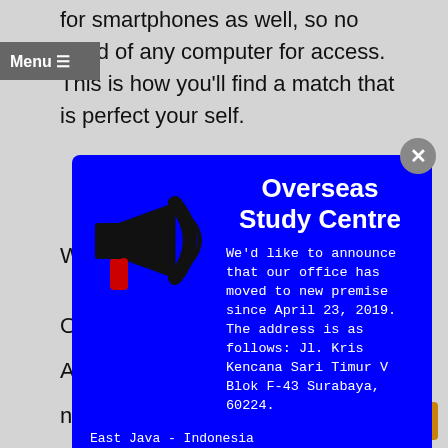for smartphones as well, so no need of any computer for access. This is how you'll find a match that is perfect your self.
Menu
[Figure (infographic): Blue modal popup for Overseas Study Centre with a megaphone icon on the left. Text: 'Overseas Study Centre — We'd like to announce that our office has moved to new premise since April 23, 2019. The address is as follows: Jl. Kris Kencana Sari Timur V Blok F-43 Surabaya, 60224. East Java - Indonesia Whatsapp: +6281359530880, +628165424106. WWW.OSCINDO.CO.ID']
register from the computer along with from your own smartphone once the site is obtainable from phones also. The help